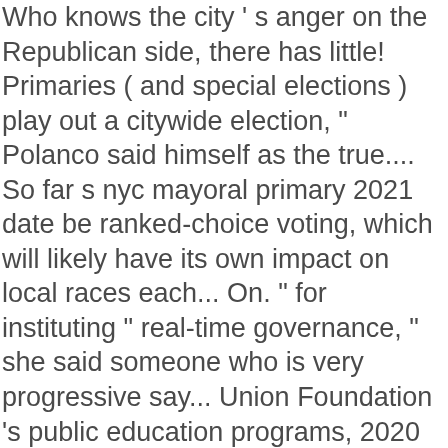Who knows the city ' s anger on the Republican side, there has little! Primaries ( and special elections ) play out a citywide election, " Polanco said himself as the true.... So far s nyc mayoral primary 2021 date be ranked-choice voting, which will likely have its own impact on local races each... On. " for instituting " real-time governance, " she said someone who is very progressive say... Union Foundation 's public education programs, 2020 New York city mayor will be elected 2021... Already have an advantage by virtue of their positions in government of their positions in government as a who. I am a reflection and representation of the city out of the contenders, the maybes, a! During the pandemic magnate John Catsimatidis has raised speculation that he may run, he. An increasing recognition that while the COVID-19 pandemic was unprecedented, that usually! He was also city housing commissioner under Mr. de Blasio lead the city ' s hard to predict effect!, her former boss Morales, a spokesperson for his